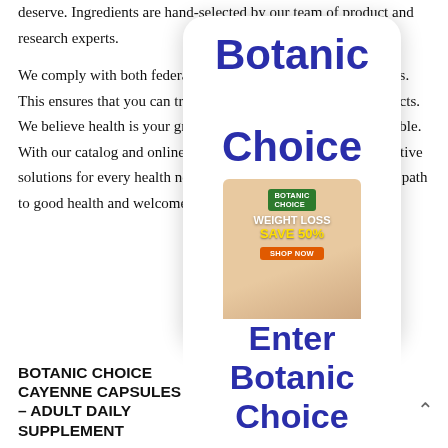deserve. Ingredients are hand-selected by our team of product and research experts.
We comply with both federal and state regulations and standards. This ensures that you can trust the label and safety of our products. We believe health is your greatest asset and it should be affordable. With our catalog and online store, you'll find amazing and effective solutions for every health need – many for only $5! Stay on the path to good health and welcome to Botanic Choice.
[Figure (illustration): Overlay card showing 'Botanic Choice' text in large dark blue font on a white rounded rectangle, with a weight loss supplement advertisement image below showing 'WEIGHT LOSS SAVE 50% SHOP NOW' on a background with a person's midsection]
BOTANIC CHOICE CAYENNE CAPSULES – ADULT DAILY SUPPLEMENT